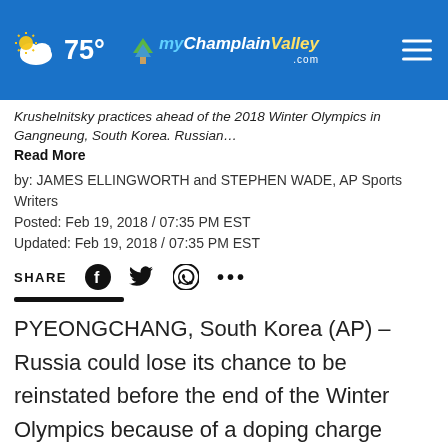75° myChamplainValley.com
Krushelnitsky practices ahead of the 2018 Winter Olympics in Gangneung, South Korea. Russian…
Read More
by: JAMES ELLINGWORTH and STEPHEN WADE, AP Sports Writers
Posted: Feb 19, 2018 / 07:35 PM EST
Updated: Feb 19, 2018 / 07:35 PM EST
SHARE
PYEONGCHANG, South Korea (AP) – Russia could lose its chance to be reinstated before the end of the Winter Olympics because of a doping charge against curling bronze medalist Alexander Krushelnitsky.
The Court of Arbitration for Sport said in a statement
[Figure (other): GOOD EATS advertisement overlay with vegetables and food items]